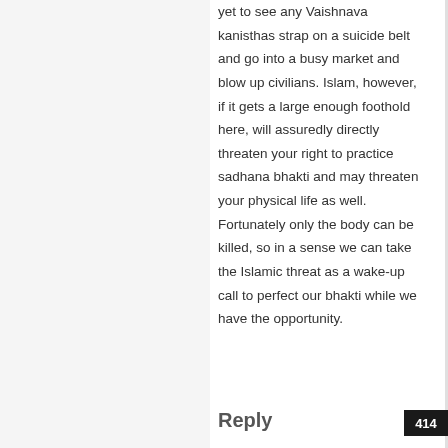yet to see any Vaishnava kanisthas strap on a suicide belt and go into a busy market and blow up civilians. Islam, however, if it gets a large enough foothold here, will assuredly directly threaten your right to practice sadhana bhakti and may threaten your physical life as well. Fortunately only the body can be killed, so in a sense we can take the Islamic threat as a wake-up call to perfect our bhakti while we have the opportunity.
Reply
414